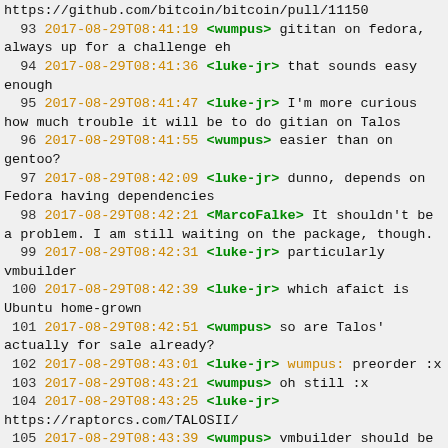https://github.com/bitcoin/bitcoin/pull/11150
93 2017-08-29T08:41:19 <wumpus> gititan on fedora, always up for a challenge eh
94 2017-08-29T08:41:36 <luke-jr> that sounds easy enough
95 2017-08-29T08:41:47 <luke-jr> I'm more curious how much trouble it will be to do gitian on Talos
96 2017-08-29T08:41:55 <wumpus> easier than on gentoo?
97 2017-08-29T08:42:09 <luke-jr> dunno, depends on Fedora having dependencies
98 2017-08-29T08:42:21 <MarcoFalke> It shouldn't be a problem. I am still waiting on the package, though.
99 2017-08-29T08:42:31 <luke-jr> particularly vmbuilder
100 2017-08-29T08:42:39 <luke-jr> which afaict is Ubuntu home-grown
101 2017-08-29T08:42:51 <wumpus> so are Talos' actually for sale already?
102 2017-08-29T08:43:01 <luke-jr> wumpus: preorder :x
103 2017-08-29T08:43:21 <wumpus> oh still :x
104 2017-08-29T08:43:25 <luke-jr> https://raptorcs.com/TALOSII/
105 2017-08-29T08:43:39 <wumpus> vmbuilder should be reasonably easy to build from source IIRC
106 2017-08-29T08:43:43 <luke-jr> upgraded since the Talos "1" that never happened
107 2017-08-29T08:46:13 *** loclll has joined